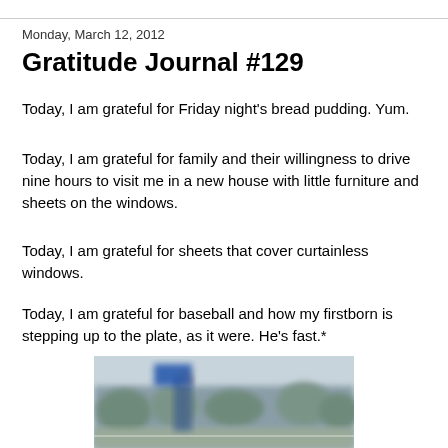Monday, March 12, 2012
Gratitude Journal #129
Today, I am grateful for Friday night's bread pudding. Yum.
Today, I am grateful for family and their willingness to drive nine hours to visit me in a new house with little furniture and sheets on the windows.
Today, I am grateful for sheets that cover curtainless windows.
Today, I am grateful for baseball and how my firstborn is stepping up to the plate, as it were. He's fast.*
[Figure (photo): Blurry action photo of a baseball player running, taken outdoors with motion blur, trees visible in background]